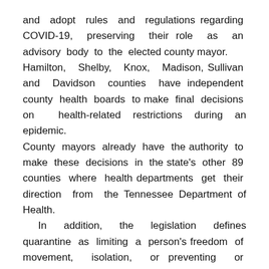and adopt rules and regulations regarding COVID-19, preserving their role as an advisory body to the elected county mayor.
Hamilton, Shelby, Knox, Madison, Sullivan and Davidson counties have independent county health boards to make final decisions on health-related restrictions during an epidemic.
County mayors already have the authority to make these decisions in the state's other 89 counties where health departments get their direction from the Tennessee Department of Health.
  In addition, the legislation defines quarantine as limiting a person's freedom of movement, isolation, or preventing or restricting access to